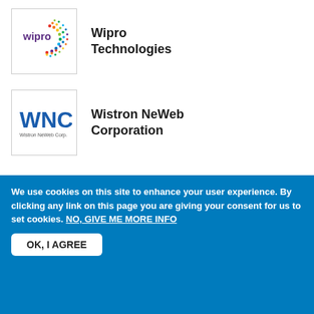[Figure (logo): Wipro Technologies logo with colorful dot pattern]
Wipro Technologies
[Figure (logo): WNC - Wistron NeWeb Corp logo in blue]
Wistron NeWeb Corporation
[Figure (logo): HGTECH logo with red icon and company name]
Wuhan HGGenuine Optics Tech Co., Ltd.
[Figure (logo): Hongjing Electronics logo in red with Chinese text]
Wuhu Hongjing Electronics Co., Ltd
We use cookies on this site to enhance your user experience. By clicking any link on this page you are giving your consent for us to set cookies. NO, GIVE ME MORE INFO
OK, I AGREE